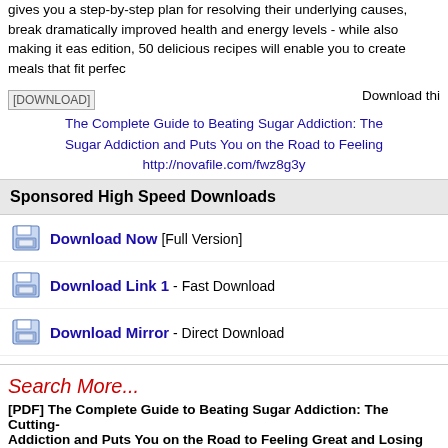gives you a step-by-step plan for resolving their underlying causes, break dramatically improved health and energy levels - while also making it eas edition, 50 delicious recipes will enable you to create meals that fit perfec
[DOWNLOAD] Download thi The Complete Guide to Beating Sugar Addiction: The Sugar Addiction and Puts You on the Road to Feeling http://novafile.com/fwz8g3y
Sponsored High Speed Downloads
Download Now [Full Version]
Download Link 1 - Fast Download
Download Mirror - Direct Download
Search More...
[PDF] The Complete Guide to Beating Sugar Addiction: The Cutting- Addiction and Puts You on the Road to Feeling Great and Losing We
[PDF] The Complete Guide to Beating Sugar Addict